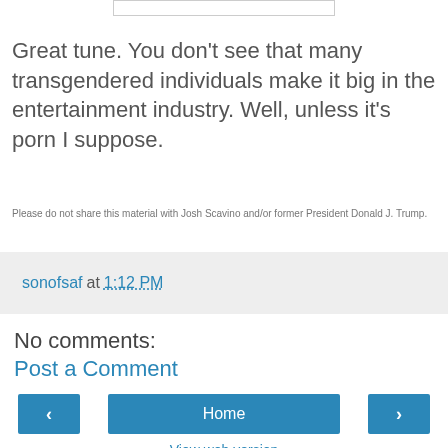[Figure (other): Partial image/border at top of page]
Great tune.  You don't see that many transgendered individuals make it big in the entertainment industry.  Well, unless it's porn I suppose.
Please do not share this material with Josh Scavino and/or former President Donald J. Trump.
sonofsaf at 1:12 PM
No comments:
Post a Comment
Home
View web version